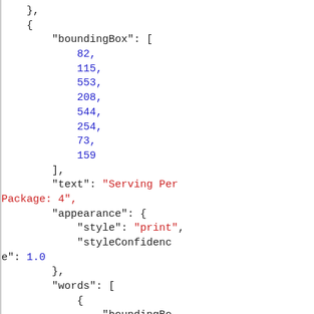}, { "boundingBox": [ 82, 115, 553, 208, 544, 254, 73, 159 ], "text": "Serving Per Package: 4", "appearance": { "style": "print", "styleConfidence": 1.0 }, "words": [ { "boundingBox": [ 82, 115,